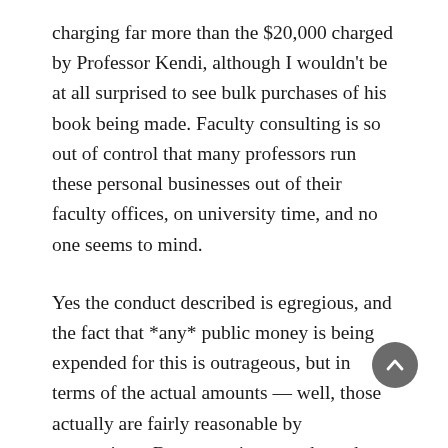charging far more than the $20,000 charged by Professor Kendi, although I wouldn't be at all surprised to see bulk purchases of his book being made. Faculty consulting is so out of control that many professors run these personal businesses out of their faculty offices, on university time, and no one seems to mind.
Yes the conduct described is egregious, and the fact that *any* public money is being expended for this is outrageous, but in terms of the actual amounts — well, those actually are fairly reasonable by comparison. By comparison to what other people are paying, although I wouldn't be at all surprised to see secondary funding lines (i.e. Federal or state grants) being used to also pay for these diatribes.
Fifty years ago, two young reporters were told to